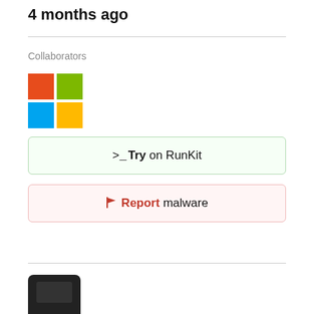4 months ago
Collaborators
[Figure (logo): Microsoft Windows logo (four colored squares: red, green, blue, yellow)]
>_Try on RunKit
Report malware
[Figure (logo): Partial dark square logo at bottom of page]